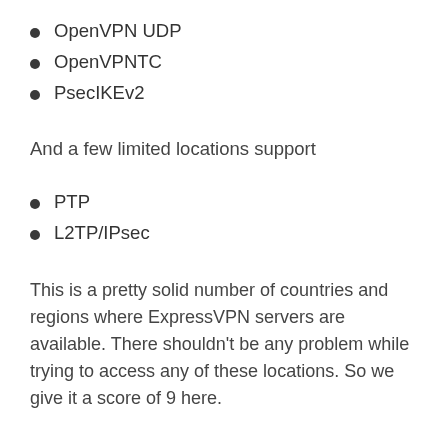OpenVPN UDP
OpenVPNTC
PsecIKEv2
And a few limited locations support
PTP
L2TP/IPsec
This is a pretty solid number of countries and regions where ExpressVPN servers are available. There shouldn’t be any problem while trying to access any of these locations. So we give it a score of 9 here.